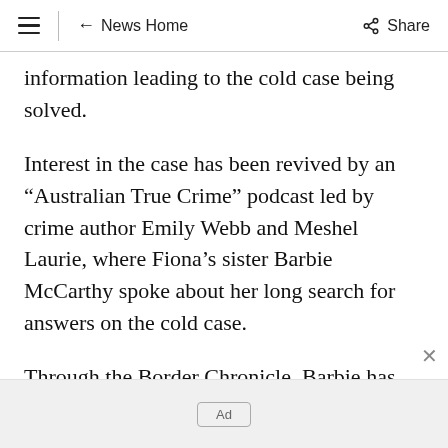≡ ← News Home Share
information leading to the cold case being solved.
Interest in the case has been revived by an “Australian True Crime” podcast led by crime author Emily Webb and Meshel Laurie, where Fiona’s sister Barbie McCarthy spoke about her long search for answers on the cold case.
Through the Border Chronicle, Barbie has now renewed her plea for “anyone who knows
Ad